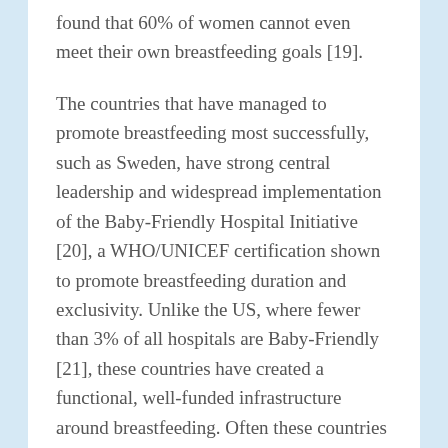found that 60% of women cannot even meet their own breastfeeding goals [19].
The countries that have managed to promote breastfeeding most successfully, such as Sweden, have strong central leadership and widespread implementation of the Baby-Friendly Hospital Initiative [20], a WHO/UNICEF certification shown to promote breastfeeding duration and exclusivity. Unlike the US, where fewer than 3% of all hospitals are Baby-Friendly [21], these countries have created a functional, well-funded infrastructure around breastfeeding. Often these countries have single payer health care, and recognize the intrinsic value of breastfeeding as a